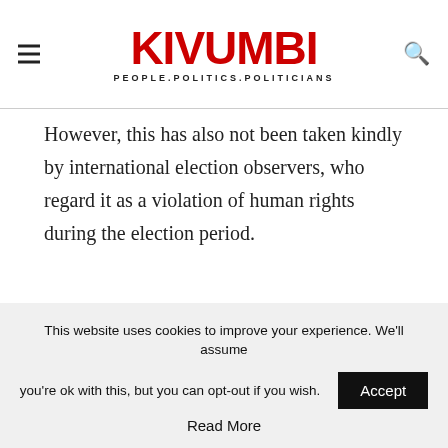KIVUMBI — PEOPLE.POLITICS.POLITICIANS
However, this has also not been taken kindly by international election observers, who regard it as a violation of human rights during the election period.
This website uses cookies to improve your experience. We'll assume you're ok with this, but you can opt-out if you wish. Accept
Read More